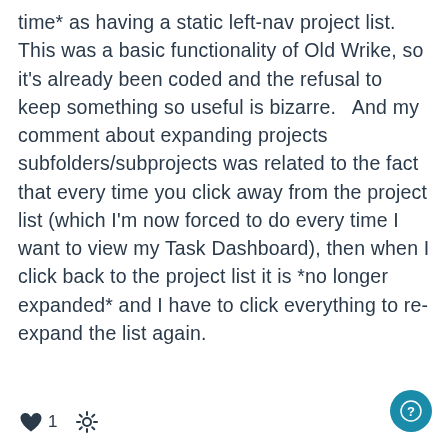time* as having a static left-nav project list. This was a basic functionality of Old Wrike, so it's already been coded and the refusal to keep something so useful is bizarre.   And my comment about expanding projects subfolders/subprojects was related to the fact that every time you click away from the project list (which I'm now forced to do every time I want to view my Task Dashboard), then when I click back to the project list it is *no longer expanded* and I have to click everything to re-expand the list again.